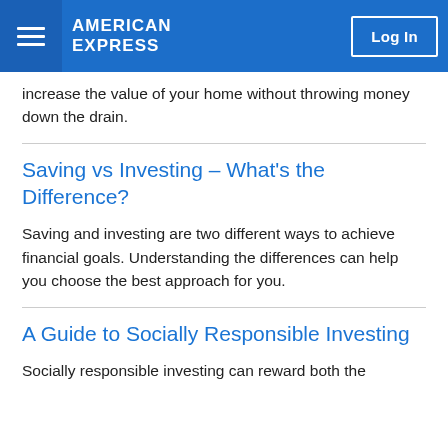AMERICAN EXPRESS  Log In
increase the value of your home without throwing money down the drain.
Saving vs Investing – What's the Difference?
Saving and investing are two different ways to achieve financial goals. Understanding the differences can help you choose the best approach for you.
A Guide to Socially Responsible Investing
Socially responsible investing can reward both the